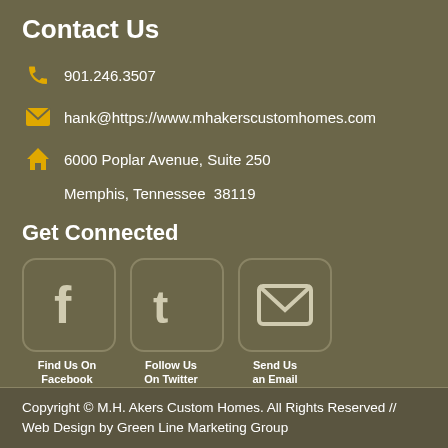Contact Us
901.246.3507
hank@https://www.mhakerscustomhomes.com
6000 Poplar Avenue, Suite 250
Memphis, Tennessee  38119
Get Connected
[Figure (infographic): Three rounded square social media buttons: Facebook (f icon), Twitter (t icon), Email (envelope icon), with labels 'Find Us On Facebook', 'Follow Us On Twitter', 'Send Us an Email']
Copyright © M.H. Akers Custom Homes. All Rights Reserved // Web Design by Green Line Marketing Group